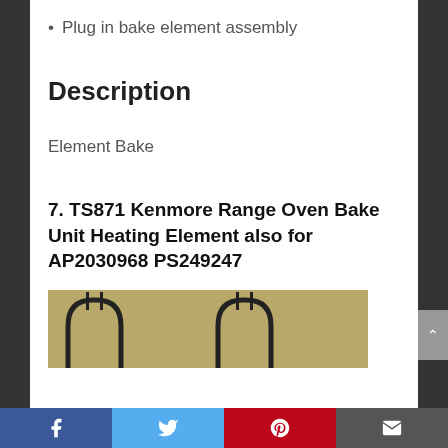Plug in bake element assembly
Description
Element Bake
7. TS871 Kenmore Range Oven Bake Unit Heating Element also for AP2030968 PS249247
[Figure (photo): Photo showing two oven bake heating elements with curved top and wire connectors, placed on a tan/gold background]
Facebook | Twitter | Pinterest | Email (social share bar)